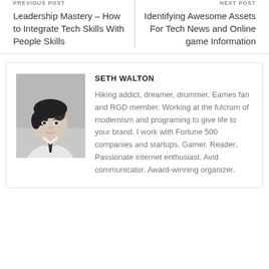PREVIOUS POST
Leadership Mastery – How to Integrate Tech Skills With People Skills
NEXT POST
Identifying Awesome Assets For Tech News and Online game Information
[Figure (photo): Black and white photo of Seth Walton, a young man wearing a white shirt and dark tie]
SETH WALTON
Hiking addict, dreamer, drummer, Eames fan and RGD member. Working at the fulcrum of modernism and programing to give life to your brand. I work with Fortune 500 companies and startups. Gamer. Reader. Passionate internet enthusiast. Avid communicator. Award-winning organizer.